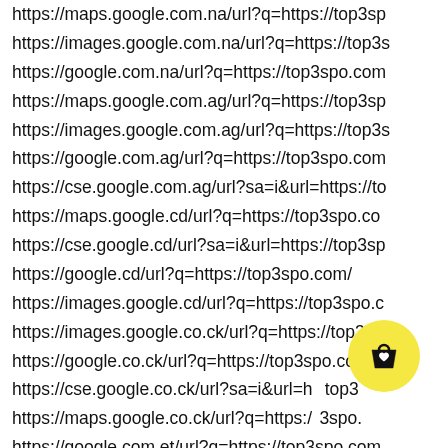https://maps.google.com.na/url?q=https://top3sp
https://images.google.com.na/url?q=https://top3s
https://google.com.na/url?q=https://top3spo.com
https://maps.google.com.ag/url?q=https://top3sp
https://images.google.com.ag/url?q=https://top3s
https://google.com.ag/url?q=https://top3spo.com
https://cse.google.com.ag/url?sa=i&url=https://to
https://maps.google.cd/url?q=https://top3spo.co
https://cse.google.cd/url?sa=i&url=https://top3sp
https://google.cd/url?q=https://top3spo.com/
https://images.google.cd/url?q=https://top3spo.c
https://images.google.co.ck/url?q=https://top3sp
https://google.co.ck/url?q=https://top3spo.com/
https://cse.google.co.ck/url?sa=i&url=h top3
https://maps.google.co.ck/url?q=https:/ 3spo.
https://google.com.et/url?q=https://top3spo.com